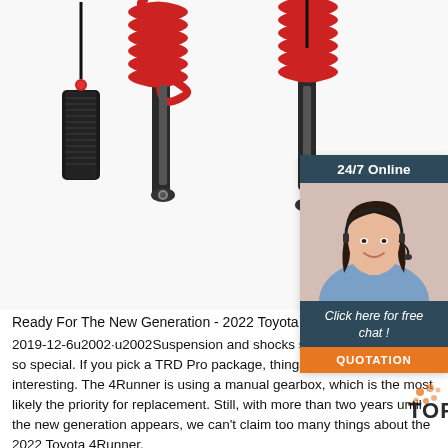[Figure (photo): Two red coil-over shock absorbers with black bodies and mounting hardware on white background, with a separate black adjustment remote on the left]
[Figure (infographic): Chat widget with '24/7 Online' header in dark blue, photo of female customer service agent with headset, 'Click here for free chat!' text, and orange 'QUOTATION' button]
Ready For The New Generation - 2022 Toyota 4Runner – OS ...
2019-12-6u2002·u2002Suspension and shocks setup makes this SUV so special. If you pick a TRD Pro package, things are becoming more interesting. The 4Runner is using a manual gearbox, which is the most likely the priority for replacement. Still, with more than two years until the new generation appears, we can't claim too many things about the 2022 Toyota 4Runner.